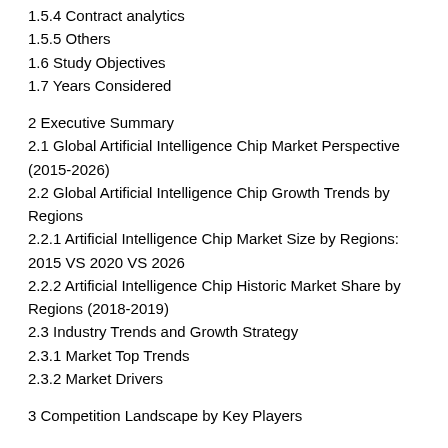1.5.4 Contract analytics
1.5.5 Others
1.6 Study Objectives
1.7 Years Considered
2 Executive Summary
2.1 Global Artificial Intelligence Chip Market Perspective (2015-2026)
2.2 Global Artificial Intelligence Chip Growth Trends by Regions
2.2.1 Artificial Intelligence Chip Market Size by Regions: 2015 VS 2020 VS 2026
2.2.2 Artificial Intelligence Chip Historic Market Share by Regions (2018-2019)
2.3 Industry Trends and Growth Strategy
2.3.1 Market Top Trends
2.3.2 Market Drivers
3 Competition Landscape by Key Players